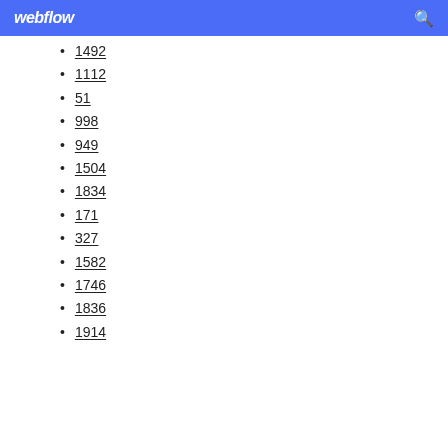webflow
1492
1112
51
998
949
1504
1834
171
327
1582
1746
1836
1914